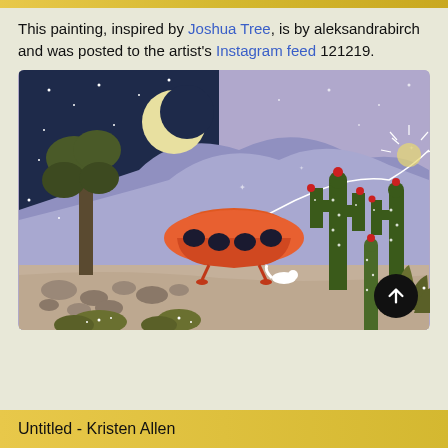This painting, inspired by Joshua Tree, is by aleksandrabirch and was posted to the artist's Instagram feed 121219.
[Figure (illustration): A colorful illustration of a desert night scene with a Joshua tree on the left under a crescent moon and starry dark blue sky. In the center is an orange UFO/flying saucer with oval windows. On the right are large green cacti with red flowers. The background shows purple mountains and a white line connecting a sunrise/sunset. The ground has rocks and desert shrubs.]
Untitled - Kristen Allen